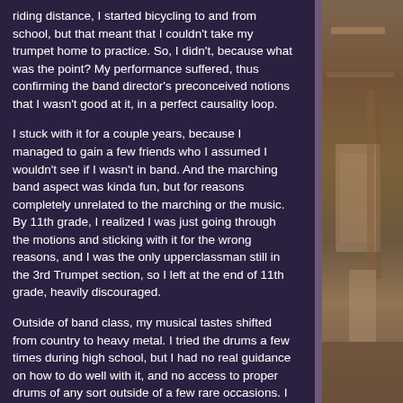riding distance, I started bicycling to and from school, but that meant that I couldn't take my trumpet home to practice. So, I didn't, because what was the point? My performance suffered, thus confirming the band director's preconceived notions that I wasn't good at it, in a perfect causality loop.

I stuck with it for a couple years, because I managed to gain a few friends who I assumed I wouldn't see if I wasn't in band. And the marching band aspect was kinda fun, but for reasons completely unrelated to the marching or the music. By 11th grade, I realized I was just going through the motions and sticking with it for the wrong reasons, and I was the only upperclassman still in the 3rd Trumpet section, so I left at the end of 11th grade, heavily discouraged.

Outside of band class, my musical tastes shifted from country to heavy metal. I tried the drums a few times during high school, but I had no real guidance on how to do well with it, and no access to proper drums of any sort outside of a few rare occasions. I bought a cheap, crappy electric guitar from a friend (in hindsight, he probably stole it), but history repeated itself and I never got very far with it, with the added bonus that I couldn't afford an amp. What I did have, however, was my singing.

Early in high school, my grandma joined the church choir;
[Figure (photo): Partial photo visible on the right side of the page, showing what appears to be an outdoor scene with wooden structures, partially obscured by the dark purple overlay.]